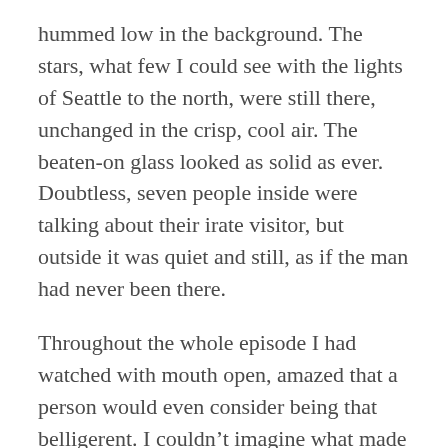hummed low in the background. The stars, what few I could see with the lights of Seattle to the north, were still there, unchanged in the crisp, cool air. The beaten-on glass looked as solid as ever. Doubtless, seven people inside were talking about their irate visitor, but outside it was quiet and still, as if the man had never been there.
Throughout the whole episode I had watched with mouth open, amazed that a person would even consider being that belligerent. I couldn't imagine what made him think that purchasing a pre-owned castoff, or even something brand new, was that important to his life. What could he possibly be needing that badly, and why?
I imagined some possible scenarios. Maybe he was getting married the next day and desparately needed a white shirt. Or maybe he would be starting a new job and had to have black pants but couldn't afford new ones since he didn't